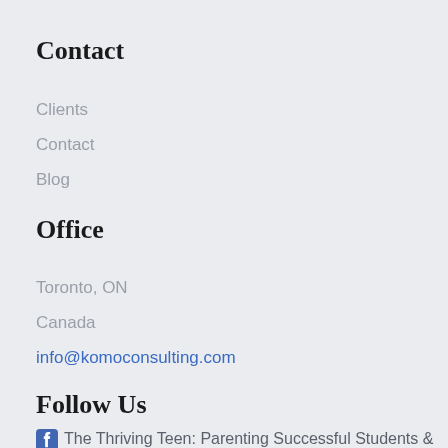Contact
Clients
Contact
Blog
Office
Toronto, ON
Canada
info@komoconsulting.com
Follow Us
The Thriving Teen: Parenting Successful Students & Confident Learners